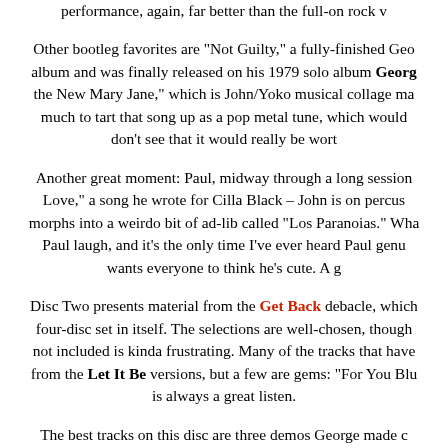performance, again, far better than the full-on rock v
Other bootleg favorites are "Not Guilty," a fully-finished Geo album and was finally released on his 1979 solo album Georg the New Mary Jane," which is John/Yoko musical collage ma much to tart that song up as a pop metal tune, which would don't see that it would really be wort
Another great moment: Paul, midway through a long session Love," a song he wrote for Cilla Black – John is on percus morphs into a weirdo bit of ad-lib called "Los Paranoias." Wha Paul laugh, and it's the only time I've ever heard Paul genu wants everyone to think he's cute. A g
Disc Two presents material from the Get Back debacle, which four-disc set in itself. The selections are well-chosen, though not included is kinda frustrating. Many of the tracks that have from the Let It Be versions, but a few are gems: "For You Blu is always a great listen.
The best tracks on this disc are three demos George made c Pass," "Something," and "Old Brown Shoe," all of which show and McCartney on a pretty consistent basis, even though he for his songs.
"All Things Must Pass" is simply amazing, and "Something"